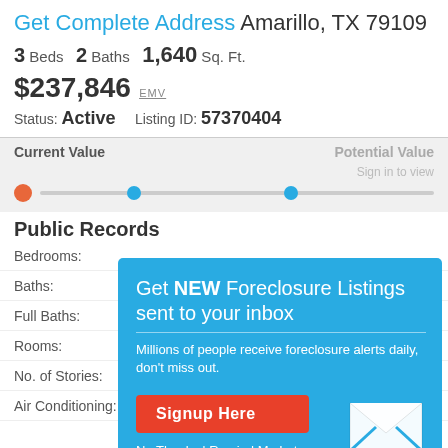Get Complete Address Amarillo, TX 79109
3 Beds  2 Baths  1,640 Sq. Ft.
$237,846 EMV
Status: Active   Listing ID: 57370404
Current Value   Potential Value   Sign in to view
Public Records
Bedrooms:
Baths:
Full Baths:
Rooms:
No. of Stories:
Air Conditioning:   Sign in to view
[Figure (infographic): Modal overlay popup with teal background promoting foreclosure listing email signup. Contains title 'Get NEW Foreclosure Listings sent to your inbox', subtitle text, a red Signup Here button, envelope icon, and No Thanks | Remind Me Later links.]